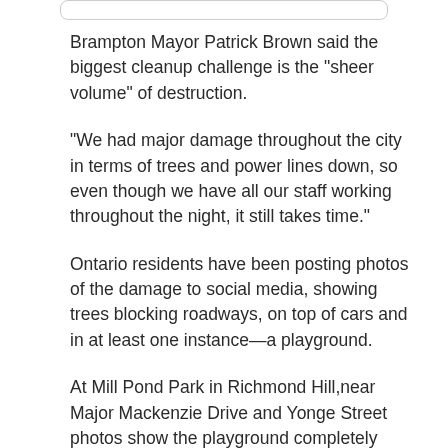Brampton Mayor Patrick Brown said the biggest cleanup challenge is the "sheer volume" of destruction.
"We had major damage throughout the city in terms of trees and power lines down, so even though we have all our staff working throughout the night, it still takes time."
Ontario residents have been posting photos of the damage to social media, showing trees blocking roadways, on top of cars and in at least one instance—a playground.
At Mill Pond Park in Richmond Hill,near Major Mackenzie Drive and Yonge Street photos show the playground completely buried under large